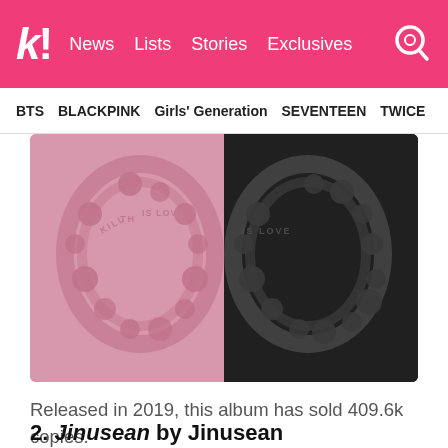k! News Lists Stories Exclusives
BTS BLACKPINK Girls' Generation SEVENTEEN TWICE
[Figure (photo): Split album cover image: left half is pink/rose toned showing ornate floral wreath sculpture with text 'KILL THIS LOVE', right half is dark grey/black showing same wreath in dark tones with text 'IS LOVE']
Released in 2019, this album has sold 409.6k copies.
2. Jinusean by Jinusean